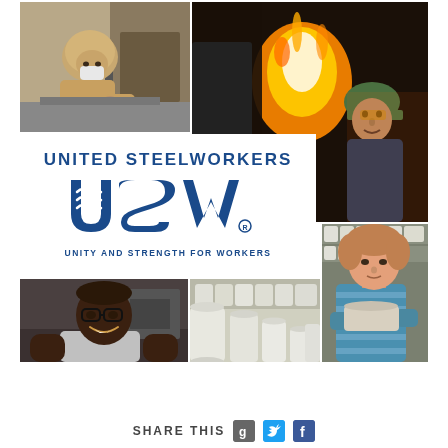[Figure (photo): Photo collage of industrial workers: top-left woman with mask sewing/working at machine, top-right worker near furnace with bright flame and another helmeted worker, bottom-left smiling Black man in factory, bottom-middle ceramic cups/pottery on shelf, bottom-right woman in blue striped shirt handling pottery]
[Figure (logo): United Steelworkers (USW) logo with text UNITED STEELWORKERS, large USW letters with swoosh design, tagline UNITY AND STRENGTH FOR WORKERS]
SHARE THIS